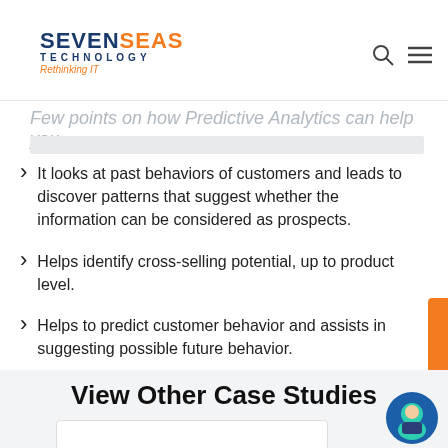vision is to reach Predictive Analytics that will help you to predict and target achievement.
[Figure (logo): Seven Seas Technology logo with tagline Rethinking IT]
Few points on how Predictive Analytics can help you.
It looks at past behaviors of customers and leads to discover patterns that suggest whether the information can be considered as prospects.
Helps identify cross-selling potential, up to product level.
Helps to predict customer behavior and assists in suggesting possible future behavior.
View Other Case Studies